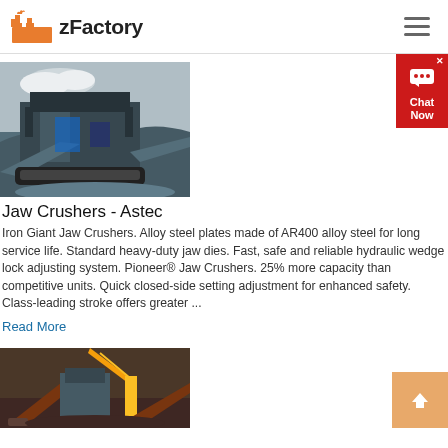zFactory
[Figure (photo): Large industrial jaw crusher machine outdoors with rocky terrain in background]
Jaw Crushers - Astec
Iron Giant Jaw Crushers. Alloy steel plates made of AR400 alloy steel for long service life. Standard heavy-duty jaw dies. Fast, safe and reliable hydraulic wedge lock adjusting system. Pioneer® Jaw Crushers. 25% more capacity than competitive units. Quick closed-side setting adjustment for enhanced safety. Class-leading stroke offers greater ...
Read More
[Figure (photo): Industrial mining/crushing equipment with conveyor belts and machinery, aerial view]